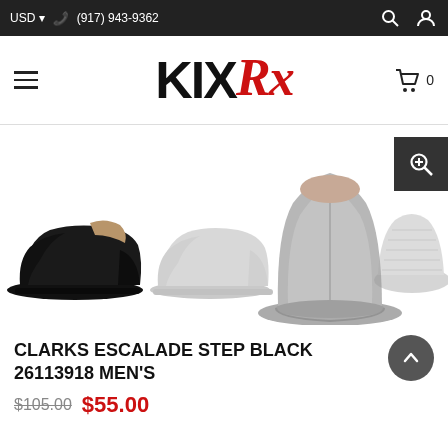USD ▾  ☎ (917) 943-9362
[Figure (logo): KIXRx logo — KIX in black bold uppercase, Rx in red italic serif]
[Figure (photo): Product photo carousel of Clarks Escalade Step Black men's slip-on shoe showing four views: left side black shoe in focus, center-left side ghosted gray, center rear view large, right sole view ghosted gray]
CLARKS ESCALADE STEP BLACK 26113918 MEN'S
$105.00 $55.00